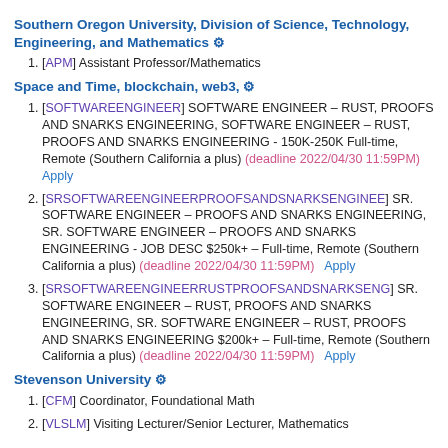Southern Oregon University, Division of Science, Technology, Engineering, and Mathematics ⚙
[APM] Assistant Professor/Mathematics
Space and Time, blockchain, web3, ⚙
[SOFTWAREENGINEER] SOFTWARE ENGINEER – RUST, PROOFS AND SNARKS ENGINEERING, SOFTWARE ENGINEER – RUST, PROOFS AND SNARKS ENGINEERING - 150K-250K Full-time, Remote (Southern California a plus) (deadline 2022/04/30 11:59PM)   Apply
[SRSOFTWAREENGINEERPROOFSANDSNARKSENGINEE] SR. SOFTWARE ENGINEER – PROOFS AND SNARKS ENGINEERING, SR. SOFTWARE ENGINEER – PROOFS AND SNARKS ENGINEERING - JOB DESC $250k+ – Full-time, Remote (Southern California a plus) (deadline 2022/04/30 11:59PM)   Apply
[SRSOFTWAREENGINEERRUSTPROOFSANDSNARKSENG] SR. SOFTWARE ENGINEER – RUST, PROOFS AND SNARKS ENGINEERING, SR. SOFTWARE ENGINEER – RUST, PROOFS AND SNARKS ENGINEERING $200k+ – Full-time, Remote (Southern California a plus) (deadline 2022/04/30 11:59PM)   Apply
Stevenson University ⚙
[CFM] Coordinator, Foundational Math
[VLSLM] Visiting Lecturer/Senior Lecturer, Mathematics